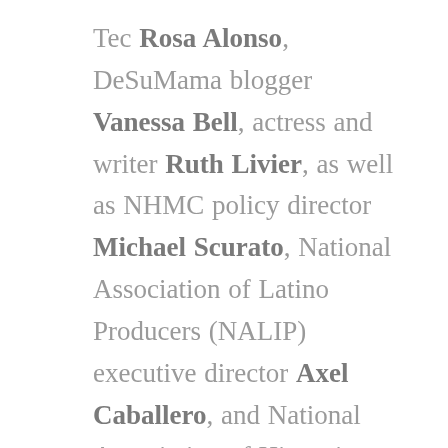Tec Rosa Alonso, DeSuMama blogger Vanessa Bell, actress and writer Ruth Livier, as well as NHMC policy director Michael Scurato, National Association of Latino Producers (NALIP) executive director Axel Caballero, and National Association of Hispanic Journalists (NAHJ) presidentHugo Balta. This webinar is hosted by the Voices for Internet Freedom Coalition, the National Hispanic Media Coalition (NHMC), the National Association of Hispanic Journalists (NAHJ) and the National Association of Latino...